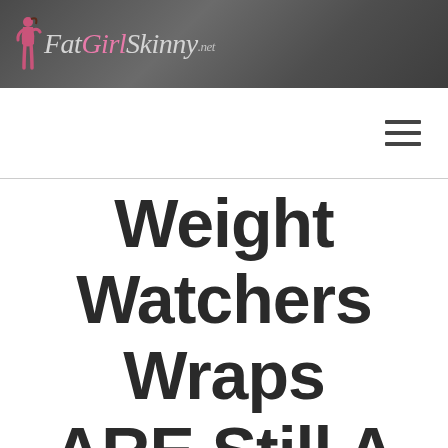FatGirlSkinny.net
Weight Watchers Wraps ARE Still A Healthy Extra P